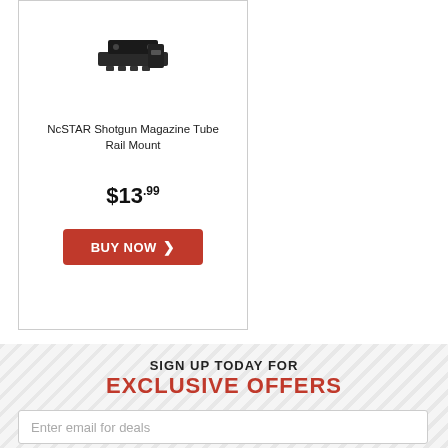[Figure (photo): NcSTAR Shotgun Magazine Tube Rail Mount product photo showing black metal rail mount accessory]
NcSTAR Shotgun Magazine Tube Rail Mount
$13.99
BUY NOW ›
SIGN UP TODAY FOR
EXCLUSIVE OFFERS
Enter email for deals